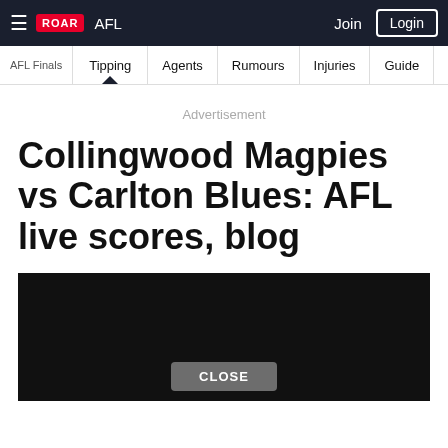ROAR | AFL | Join | Login
AFL Finals | Tipping | Agents | Rumours | Injuries | Guide | Fixt
Advertisement
Collingwood Magpies vs Carlton Blues: AFL live scores, blog
[Figure (screenshot): Dark video/media embed with a CLOSE button at the bottom center]